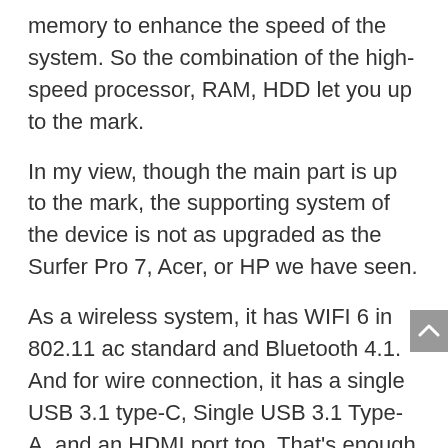memory to enhance the speed of the system. So the combination of the high-speed processor, RAM, HDD let you up to the mark.
In my view, though the main part is up to the mark, the supporting system of the device is not as upgraded as the Surfer Pro 7, Acer, or HP we have seen.
As a wireless system, it has WIFI 6 in 802.11 ac standard and Bluetooth 4.1. And for wire connection, it has a single USB 3.1 type-C, Single USB 3.1 Type-A, and an HDMI port too. That's enough for a 2-in-1 laptop.
It will provide 8-hour long battery life and very